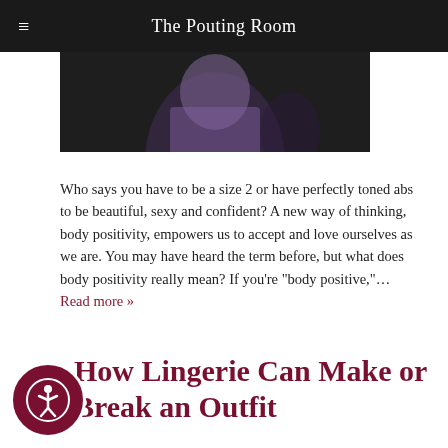The Pouting Room
[Figure (photo): Partial photo of a person in a purple/lavender outfit, dark background]
Who says you have to be a size 2 or have perfectly toned abs to be beautiful, sexy and confident? A new way of thinking, body positivity, empowers us to accept and love ourselves as we are. You may have heard the term before, but what does body positivity really mean? If you're "body positive,"… Read more »
How Lingerie Can Make or Break an Outfit